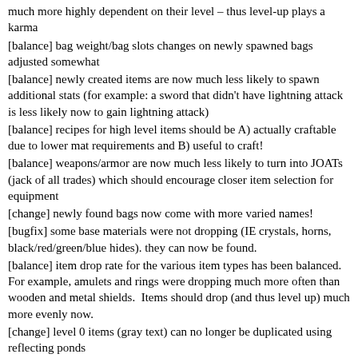much more highly dependent on their level – thus level-up plays a karma
[balance] bag weight/bag slots changes on newly spawned bags adjusted somewhat
[balance] newly created items are now much less likely to spawn additional stats (for example: a sword that didn't have lightning attack is less likely now to gain lightning attack)
[balance] recipes for high level items should be A) actually craftable due to lower mat requirements and B) useful to craft!
[balance] weapons/armor are now much less likely to turn into JOATs (jack of all trades) which should encourage closer item selection for equipment
[change] newly found bags now come with more varied names!
[bugfix] some base materials were not dropping (IE crystals, horns, black/red/green/blue hides). they can now be found.
[balance] item drop rate for the various item types has been balanced.  For example, amulets and rings were dropping much more often than wooden and metal shields.  Items should drop (and thus level up) much more evenly now.
[change] level 0 items (gray text) can no longer be duplicated using reflecting ponds
[change] bank box was increased from 5×5 (25 slots) to 7×7 (49 slots)
[balance] requirements to increase health and stamina using essenses now increase every 100 increases instead of every 20. This will make increasing health and stamina much less painful